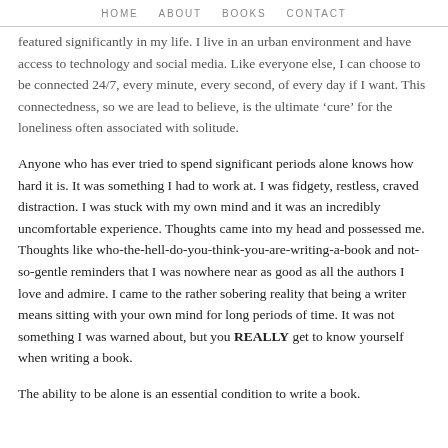HOME   ABOUT   BOOKS   CONTACT
featured significantly in my life. I live in an urban environment and have access to technology and social media. Like everyone else, I can choose to be connected 24/7, every minute, every second, of every day if I want. This connectedness, so we are lead to believe, is the ultimate ‘cure’ for the loneliness often associated with solitude.
Anyone who has ever tried to spend significant periods alone knows how hard it is. It was something I had to work at. I was fidgety, restless, craved distraction. I was stuck with my own mind and it was an incredibly uncomfortable experience. Thoughts came into my head and possessed me. Thoughts like who-the-hell-do-you-think-you-are-writing-a-book and not-so-gentle reminders that I was nowhere near as good as all the authors I love and admire. I came to the rather sobering reality that being a writer means sitting with your own mind for long periods of time. It was not something I was warned about, but you REALLY get to know yourself when writing a book.
The ability to be alone is an essential condition to write a book.